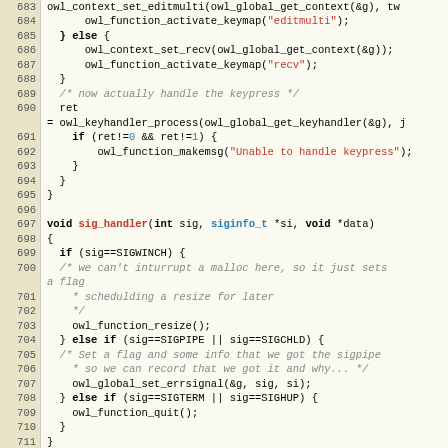[Figure (screenshot): Source code listing in C, lines 683-711, showing owl_context_set_editmulti, owl_function_activate_keymap, owl_context_set_recv, owl_keyhandler_process, sig_handler function with signal handling logic for SIGWINCH, SIGPIPE, SIGCHLD, SIGTERM, SIGHUP.]